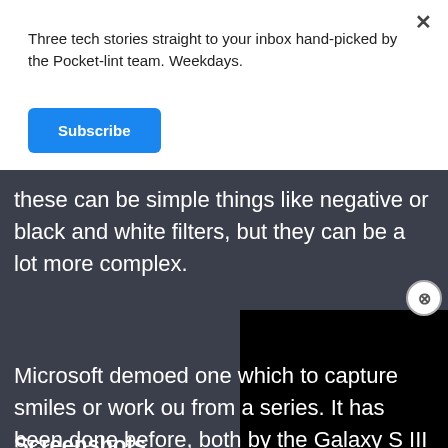Three tech stories straight to your inbox hand-picked by the Pocket-lint team. Weekdays.
[Figure (other): Blue Subscribe button]
these can be simple things like negative or black and white filters, but they can be a lot more complex.
Microsoft demoed one which to capture smiles or work ou from a series. It has been done before, both by the Galaxy S III and BB10, but the ability for developers to add easily to the camera app is a new thing.
[Figure (screenshot): Black video overlay box partially covering the text]
Screenshots